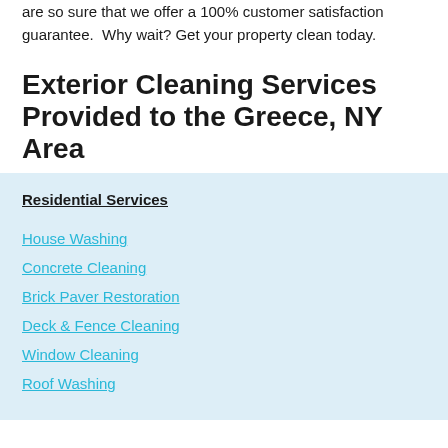are so sure that we offer a 100% customer satisfaction guarantee.  Why wait? Get your property clean today.
Exterior Cleaning Services Provided to the Greece, NY Area
Residential Services
House Washing
Concrete Cleaning
Brick Paver Restoration
Deck & Fence Cleaning
Window Cleaning
Roof Washing